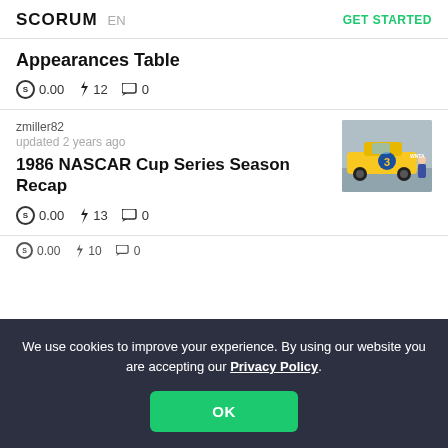SCORUM EN | GET STARTED
Appearances Table
0.00  12  0
zmiller82
updated 2 years ago
1986 NASCAR Cup Series Season Recap
[Figure (photo): A yellow NASCAR race car with number 3 on the door, photographed on a racetrack with a person crouching beside it.]
0.00  13  0
We use cookies to improve your experience. By using our website you are accepting our Privacy Policy.
OK
0.00  10  0